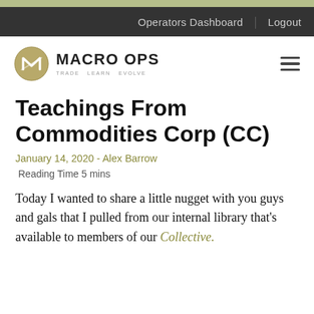Operators Dashboard | Logout
[Figure (logo): Macro Ops logo — circular gold emblem with stylized M, beside bold text MACRO OPS with tagline TRADE LEARN EVOLVE]
Teachings From Commodities Corp (CC)
January 14, 2020 - Alex Barrow
Reading Time 5 mins
Today I wanted to share a little nugget with you guys and gals that I pulled from our internal library that's available to members of our Collective.